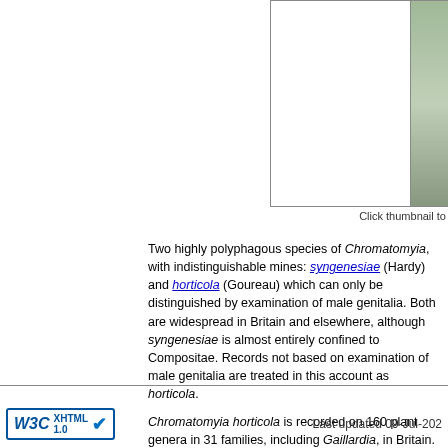[Figure (photo): Thumbnail images area with two image boxes side by side, left box empty/white, right box showing a partial nature/insect photo]
Click thumbnail to
Two highly polyphagous species of Chromatomyia, with indistinguishable mines: syngenesiae (Hardy) and horticola (Goureau) which can only be distinguished by examination of male genitalia. Both are widespread in Britain and elsewhere, although syngenesiae is almost entirely confined to Compositae. Records not based on examination of male genitalia are treated in this account as horticola.
Chromatomyia horticola is recorded on 160 plant genera in 31 families, including Gaillardia, in Britain.
Chromatomya syngenesiae is recorded in Britain on 27 plant genera in 5 families, and elsewhere, but not yet on Gaillardia, in Britain.
Last updated 09-Jul-202